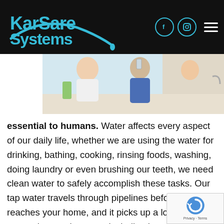KarSare Systems
[Figure (photo): Family drinking water in a kitchen setting]
essential to humans.  Water affects every aspect of our daily life, whether we are using the water for drinking, bathing, cooking, rinsing foods, washing, doing laundry or even brushing our teeth, we need clean water to safely accomplish these tasks.  Our tap water travels through pipelines before it reaches your home, and it picks up a lot of contaminants along way including bacteria, chlorine, fluorine compounds, lead, mercury, pesticides and waste